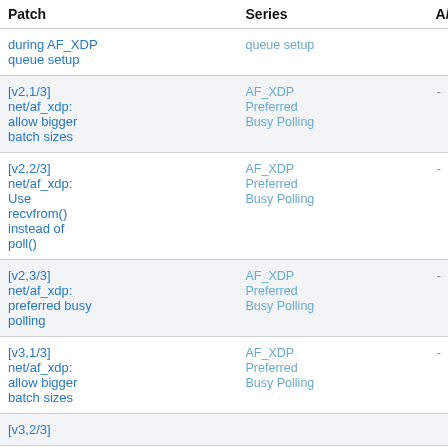| Patch | Series | A/R/T | S/W/F | Date | Subm |
| --- | --- | --- | --- | --- | --- |
| during AF_XDP queue setup | queue setup |  |  |  |  |
| [v2,1/3] net/af_xdp: allow bigger batch sizes | AF_XDP Preferred Busy Polling | - - - | 1 - - | 2021-03-09 | Loftus Ciara |
| [v2,2/3] net/af_xdp: Use recvfrom() instead of poll() | AF_XDP Preferred Busy Polling | - - - | 1 - - | 2021-03-09 | Loftus Ciara |
| [v2,3/3] net/af_xdp: preferred busy polling | AF_XDP Preferred Busy Polling | - - - | 8 - - | 2021-03-09 | Loftus Ciara |
| [v3,1/3] net/af_xdp: allow bigger batch sizes | AF_XDP Preferred Busy Polling | - - - | 1 - - | 2021-03-10 | Loftus Ciara |
| [v3,2/3] |  |  |  |  |  |